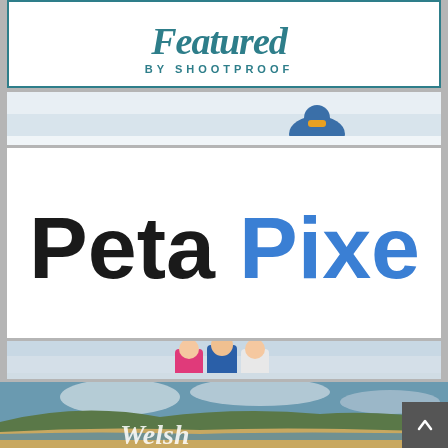[Figure (logo): Featured by ShootProof badge with teal border, script 'Featured' text and 'BY SHOOTPROOF' subtitle]
[Figure (photo): Child in blue winter jacket and goggles sitting in snow]
[Figure (logo): PetaPixel logo — 'Peta' in black bold sans-serif, 'Pixel' in blue bold sans-serif]
[Figure (photo): Three children in colorful winter jackets standing together outdoors]
[Figure (photo): Welsh coastal landscape with beach, cliffs and cloudy sky, with cursive 'Welsh' text overlay]